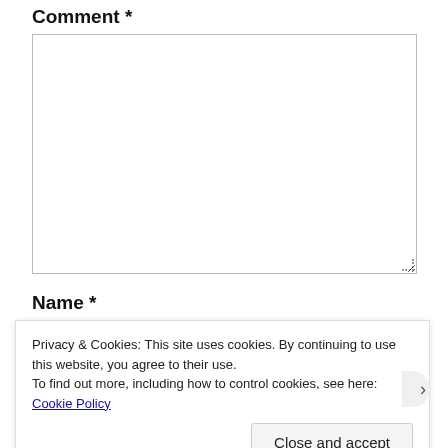Comment *
[Figure (other): Empty comment text area input box with resize handle]
Name *
Privacy & Cookies: This site uses cookies. By continuing to use this website, you agree to their use.
To find out more, including how to control cookies, see here: Cookie Policy
Close and accept